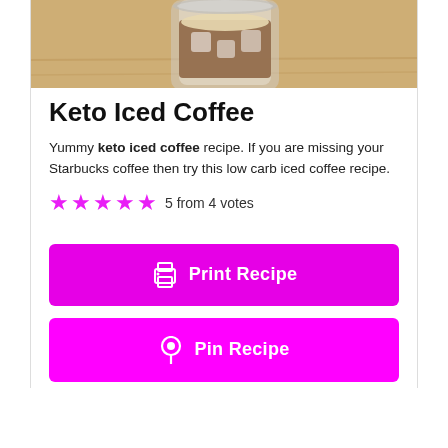[Figure (photo): Iced coffee drink in a glass jar on a wooden surface, viewed from above/side]
Keto Iced Coffee
Yummy keto iced coffee recipe. If you are missing your Starbucks coffee then try this low carb iced coffee recipe.
5 from 4 votes
Print Recipe
Pin Recipe